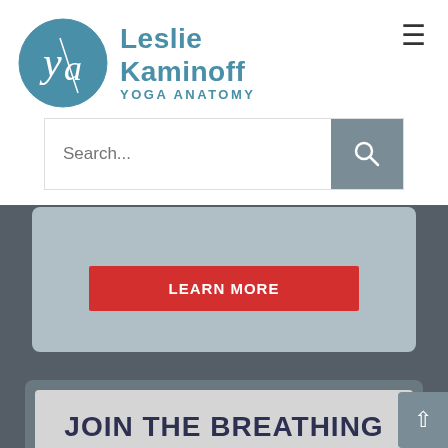[Figure (logo): Leslie Kaminoff Yoga Anatomy logo with circular monogram and teal text]
[Figure (screenshot): Search bar with text input field and gray search button with magnifying glass icon]
[Figure (screenshot): Red LEARN MORE button on a gray card background]
JOIN THE BREATHING PROJECT MEMBERSHIP